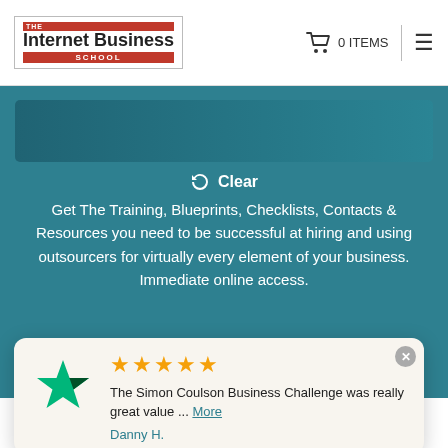The Internet Business School | 0 ITEMS
[Figure (screenshot): Partial screenshot of a teal-colored section with a cropped image bar at top]
↻ Clear
Get The Training, Blueprints, Checklists, Contacts & Resources you need to be successful at hiring and using outsourcers for virtually every element of your business. Immediate online access.
— OR —
★★★★★ The Simon Coulson Business Challenge was really great value ... More Danny H.